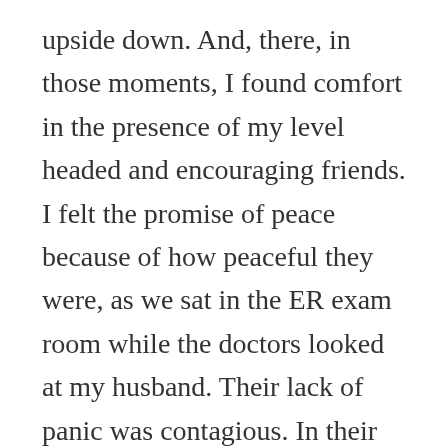upside down.  And, there, in those moments, I found comfort in the presence of my level headed and encouraging friends.  I felt the promise of peace because of how peaceful they were, as we sat in the ER exam room while the doctors looked at my husband.  Their lack of panic was contagious. In their kindness and strength, I found peace.
This summer, I found a verse that made me rethink everything I've